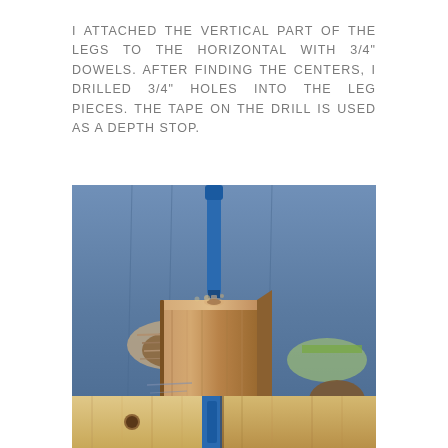I ATTACHED THE VERTICAL PART OF THE LEGS TO THE HORIZONTAL WITH 3/4" DOWELS. AFTER FINDING THE CENTERS, I DRILLED 3/4" HOLES INTO THE LEG PIECES. THE TAPE ON THE DRILL IS USED AS A DEPTH STOP.
[Figure (photo): Person wearing ripped jeans using a blue drill to drill into a wooden leg piece. The wood is a natural pine/cedar color and the drill bit is visible going into the top of the square post.]
[Figure (photo): Close-up of wooden pieces and a blue drill/clamp on a workshop surface, showing the assembly of leg components with dowels.]